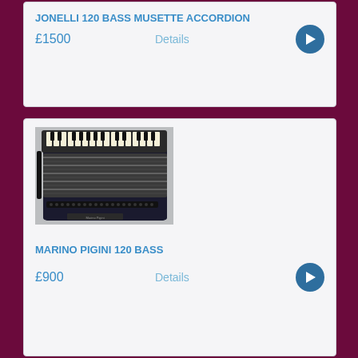JONELLI 120 BASS MUSETTE ACCORDION
£1500
Details
[Figure (photo): Photo of a black accordion (Marino Pigini 120 Bass) with ivory and black keys visible, bellows, and bass buttons]
MARINO PIGINI 120 BASS
£900
Details